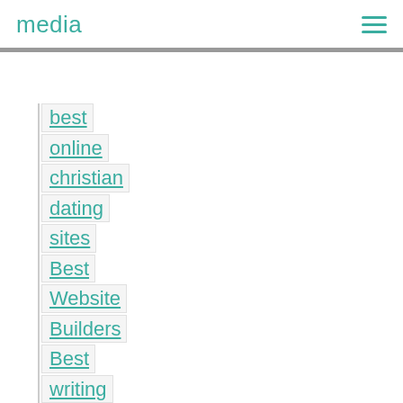media
best
online
christian
dating
sites
Best
Website
Builders
Best
writing
custom
service
Betting
tips
on